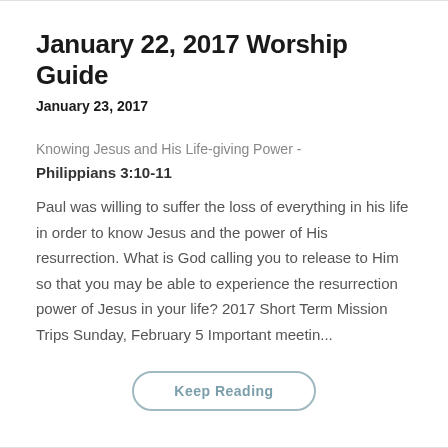January 22, 2017 Worship Guide
January 23, 2017
Knowing Jesus and His Life-giving Power -
Philippians 3:10-11
Paul was willing to suffer the loss of everything in his life in order to know Jesus and the power of His resurrection. What is God calling you to release to Him so that you may be able to experience the resurrection power of Jesus in your life? 2017 Short Term Mission Trips Sunday, February 5 Important meetin...
Keep Reading